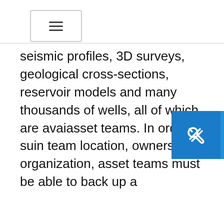☰ (navigation menu icon)
seismic profiles, 3D surveys, geological cross-sections, reservoir models and many thousands of wells, all of which are avai… asset teams. In order to su… in team location, ownership… organization, asset teams must be able to back up a
[Figure (infographic): Support banner with wrench/screwdriver icon on blue background, text 'SUPPORT' and double chevron arrow]
HOW WE USE COOKIES: We use cookies and similar technologies to improve our website, to personalize website content to you, and to deliver advertising messages and offers on content that are relevant to you. For more specific information on how we use cookies and to change your cookie preferences, see our Cookie Notice. Understand and don't want to see this message again? Click the X to close this notice